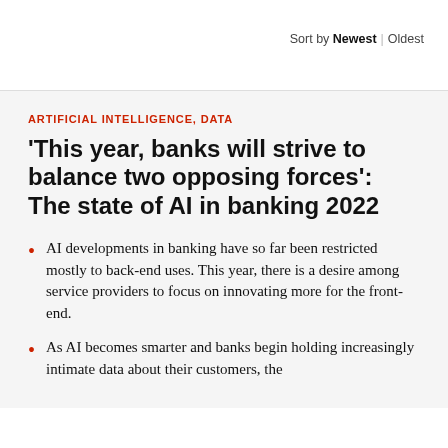Sort by Newest | Oldest
ARTIFICIAL INTELLIGENCE, DATA
'This year, banks will strive to balance two opposing forces': The state of AI in banking 2022
AI developments in banking have so far been restricted mostly to back-end uses. This year, there is a desire among service providers to focus on innovating more for the front-end.
As AI becomes smarter and banks begin holding increasingly intimate data about their customers, the